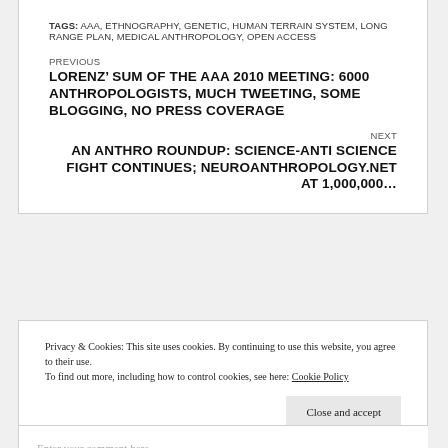TAGS: AAA, ETHNOGRAPHY, GENETIC, HUMAN TERRAIN SYSTEM, LONG RANGE PLAN, MEDICAL ANTHROPOLOGY, OPEN ACCESS
PREVIOUS
LORENZ’ SUM OF THE AAA 2010 MEETING: 6000 ANTHROPOLOGISTS, MUCH TWEETING, SOME BLOGGING, NO PRESS COVERAGE
NEXT
AN ANTHRO ROUNDUP: SCIENCE-ANTI SCIENCE FIGHT CONTINUES; NEUROANTHROPOLOGY.NET AT 1,000,000…
Privacy & Cookies: This site uses cookies. By continuing to use this website, you agree to their use.
To find out more, including how to control cookies, see here: Cookie Policy
Close and accept
Enter your comment here...